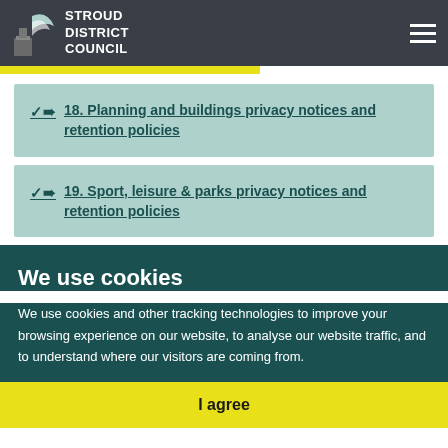Stroud District Council
18. Planning and buildings privacy notices and retention policies
19. Sport, leisure & parks privacy notices and retention policies
We use cookies
We use cookies and other tracking technologies to improve your browsing experience on our website, to analyse our website traffic, and to understand where our visitors are coming from.
I agree